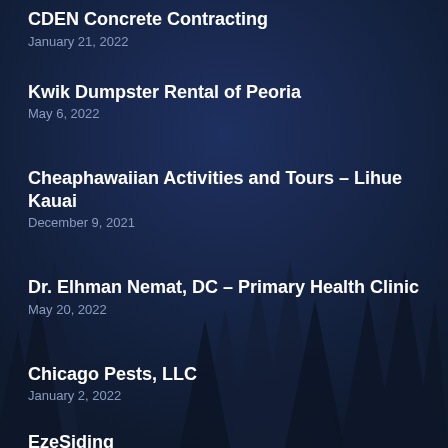CDEN Concrete Contracting
January 21, 2022
Kwik Dumpster Rental of Peoria
May 6, 2022
Cheaphawaiian Activities and Tours – Lihue Kauai
December 9, 2021
Dr. Elhman Nemat, DC – Primary Health Clinic
May 20, 2022
Chicago Pests, LLC
January 2, 2022
EzeSiding